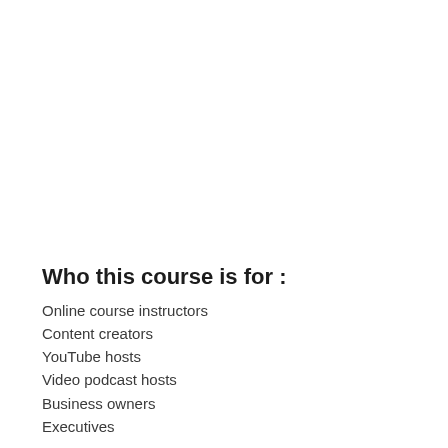Who this course is for :
Online course instructors
Content creators
YouTube hosts
Video podcast hosts
Business owners
Executives